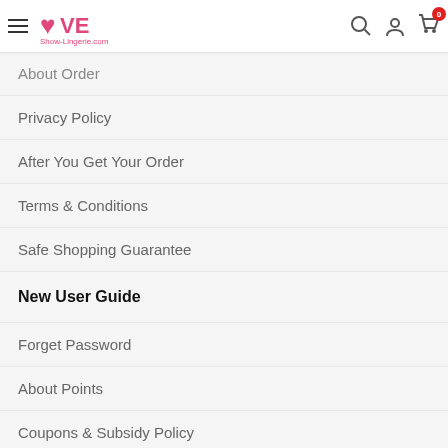[Figure (logo): Love Show-Lingerie.com website header logo with pink heart, search icon, user icon, and cart icon with badge showing 0]
About Order
Privacy Policy
After You Get Your Order
Terms & Conditions
Safe Shopping Guarantee
New User Guide
Forget Password
About Points
Coupons & Subsidy Policy
How to order / My order
Dropship Service
Customs & Taxes
Order FAQS